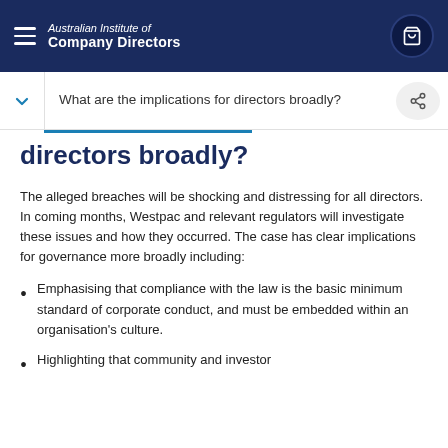Australian Institute of Company Directors
What are the implications for directors broadly?
directors broadly?
The alleged breaches will be shocking and distressing for all directors. In coming months, Westpac and relevant regulators will investigate these issues and how they occurred. The case has clear implications for governance more broadly including:
Emphasising that compliance with the law is the basic minimum standard of corporate conduct, and must be embedded within an organisation's culture.
Highlighting that community and investor